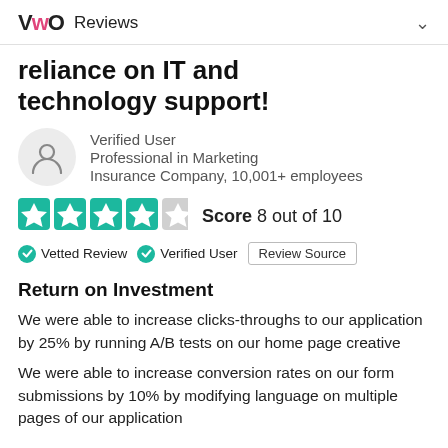VWO Reviews
reliance on IT and technology support!
Verified User
Professional in Marketing
Insurance Company, 10,001+ employees
[Figure (other): 4 out of 5 teal stars rating graphic, Score 8 out of 10]
Vetted Review   Verified User   Review Source
Return on Investment
We were able to increase clicks-throughs to our application by 25% by running A/B tests on our home page creative
We were able to increase conversion rates on our form submissions by 10% by modifying language on multiple pages of our application